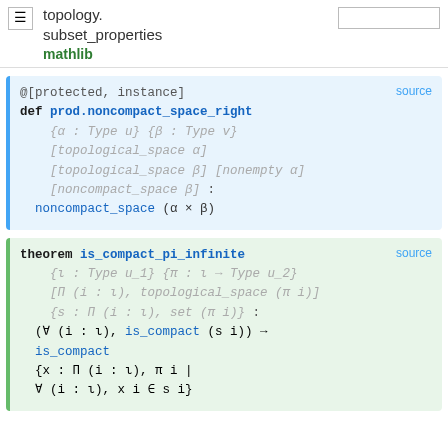topology.subset_properties | mathlib
@[protected, instance]
def prod.noncompact_space_right
  {α : Type u} {β : Type v}
  [topological_space α]
  [topological_space β] [nonempty α]
  [noncompact_space β] :
  noncompact_space (α × β)
theorem is_compact_pi_infinite
  {ι : Type u_1} {π : ι → Type u_2}
  [Π (i : ι), topological_space (π i)]
  {s : Π (i : ι), set (π i)} :
  (∀ (i : ι), is_compact (s i)) →
  is_compact
  {x : Π (i : ι), π i |
  ∀ (i : ι), x i ∈ s i}